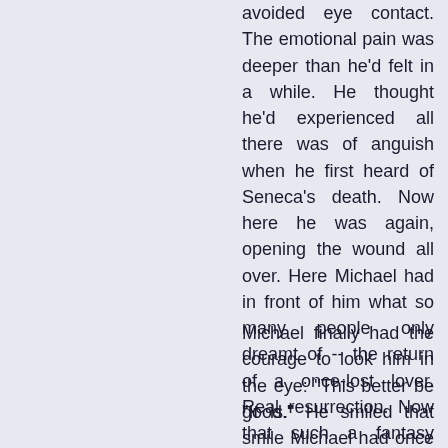avoided eye contact. The emotional pain was deeper than he'd felt in a while. He thought he'd experienced all there was of anguish when he first heard of Seneca's death. Now here he was again, opening the wound all over. Here Michael had in front of him what so many people only dreamt of -- the return of a once-lost lover. Real resurrection. Now that such a fantasy might actually be possible, he was terrified.
Michael finally had the courage to look him in the eye: "This better be good."
"It is." He smiled that smile Michael had once cherished.
"Stop it." Michael looked away again.
"Why? We could spend